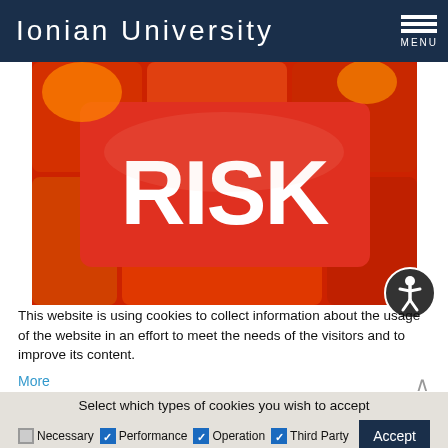Ionian University  MENU
[Figure (photo): A red keyboard key labeled RISK in bold white letters, with orange highlights and surrounding red keys in the background.]
This website is using cookies to collect information about the usage of the website in an effort to meet the needs of the visitors and to improve its content.
More
Select which types of cookies you wish to accept
Necessary  Performance  Operation  Third Party  Accept